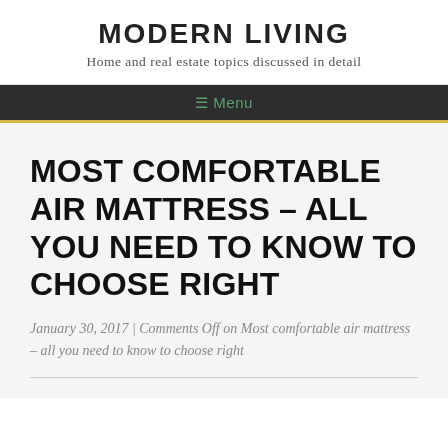MODERN LIVING
Home and real estate topics discussed in detail
☰ Menu
MOST COMFORTABLE AIR MATTRESS – ALL YOU NEED TO KNOW TO CHOOSE RIGHT
January 30, 2017 | Comments Off on Most comfortable air mattress – all you need to know to choose right